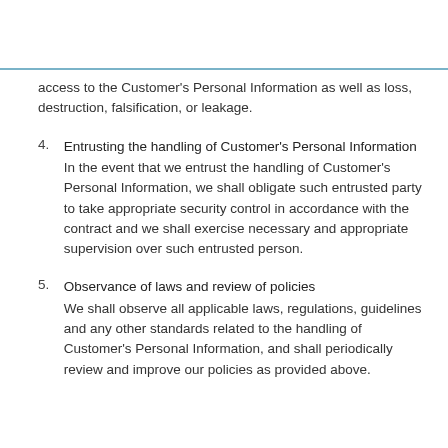access to the Customer's Personal Information as well as loss, destruction, falsification, or leakage.
4. Entrusting the handling of Customer's Personal Information
In the event that we entrust the handling of Customer's Personal Information, we shall obligate such entrusted party to take appropriate security control in accordance with the contract and we shall exercise necessary and appropriate supervision over such entrusted person.
5. Observance of laws and review of policies
We shall observe all applicable laws, regulations, guidelines and any other standards related to the handling of Customer's Personal Information, and shall periodically review and improve our policies as provided above.